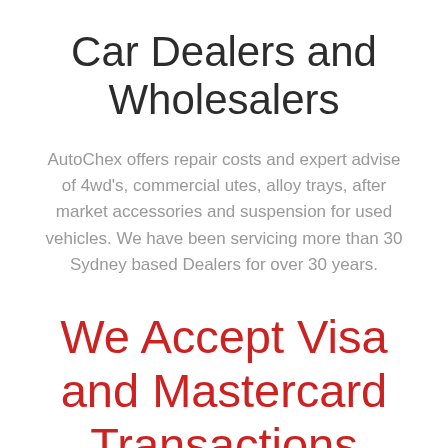Car Dealers and Wholesalers
AutoChex offers repair costs and expert advise of 4wd's, commercial utes, alloy trays, after market accessories and suspension for used vehicles. We have been servicing more than 30 Sydney based Dealers for over 30 years.
We Accept Visa and Mastercard Transactions